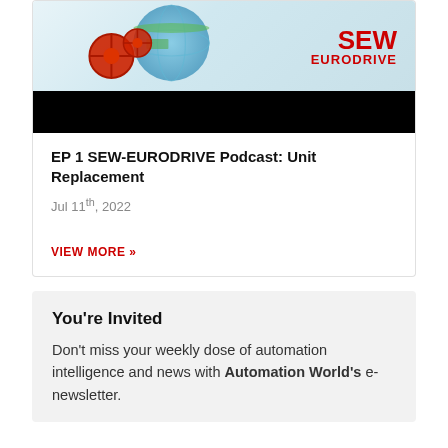[Figure (screenshot): SEW-EURODRIVE podcast thumbnail image with gears and globe graphic, red SEW EURODRIVE logo on right, black bar below]
EP 1 SEW-EURODRIVE Podcast: Unit Replacement
Jul 11th, 2022
VIEW MORE »
You're Invited
Don't miss your weekly dose of automation intelligence and news with Automation World's e-newsletter.